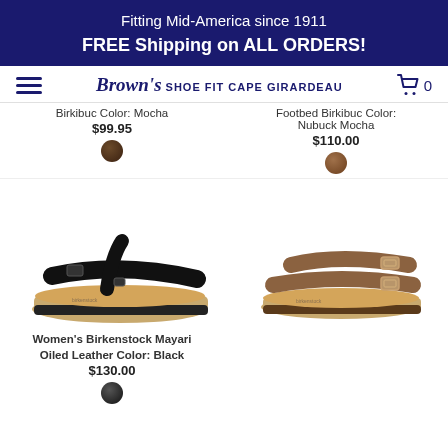Fitting Mid-America since 1911
FREE Shipping on ALL ORDERS!
[Figure (logo): Brown's Shoe Fit Cape Girardeau logo with hamburger menu and cart icon]
Birkibuc Color: Mocha
$99.95
Footbed Birkibuc Color: Nubuck Mocha
$110.00
[Figure (photo): Women's Birkenstock Mayari sandal in black oiled leather, side view on white background]
Women's Birkenstock Mayari Oiled Leather Color: Black
$130.00
[Figure (photo): Birkenstock sandal in tobacco/tan oiled leather, two-strap style, side view]